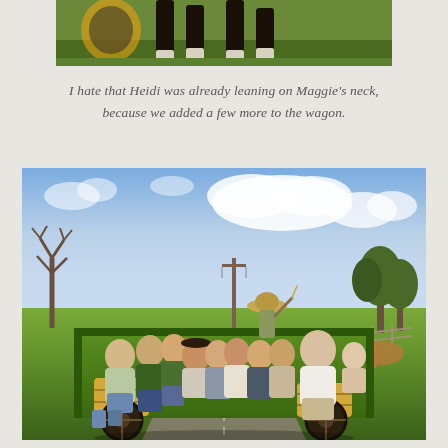[Figure (photo): Partial photo showing legs of a horse on green grass, cropped at top of page]
I hate that Heidi was already leaning on Maggie's neck, because we added a few more to the wagon.
[Figure (photo): Group photo of approximately 12-14 people sitting on a green hay wagon with hay bales, being driven down a road by a cowboy in a hat, with trees and open farmland in background under a partly cloudy sky]